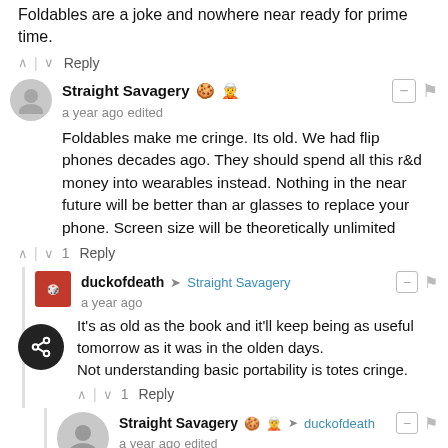Foldables are a joke and nowhere near ready for prime time.
^ | v  Reply
Straight Savagery 🍪🧝  a year ago edited
Foldables make me cringe. Its old. We had flip phones decades ago. They should spend all this r&d money into wearables instead. Nothing in the near future will be better than ar glasses to replace your phone. Screen size will be theoretically unlimited
^ | v 1  Reply
duckofdeath → Straight Savagery  a year ago
It's as old as the book and it'll keep being as useful tomorrow as it was in the olden days.
Not understanding basic portability is totes cringe.
^ | v 1  Reply
Straight Savagery 🍪🧝 → duckofdeath  a year ago edited
A book can be opened and closed 100000x more times